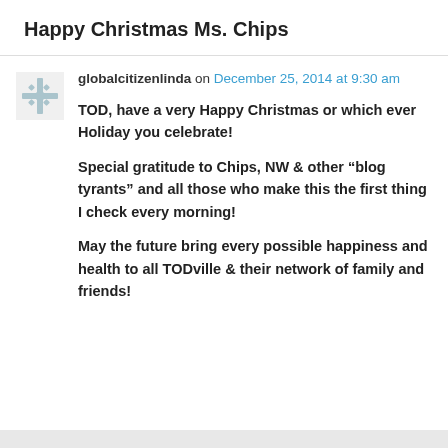Happy Christmas Ms. Chips
globalcitizenlinda on December 25, 2014 at 9:30 am
TOD, have a very Happy Christmas or which ever Holiday you celebrate!
Special gratitude to Chips, NW & other “blog tyrants” and all those who make this the first thing I check every morning!
May the future bring every possible happiness and health to all TODville & their network of family and friends!